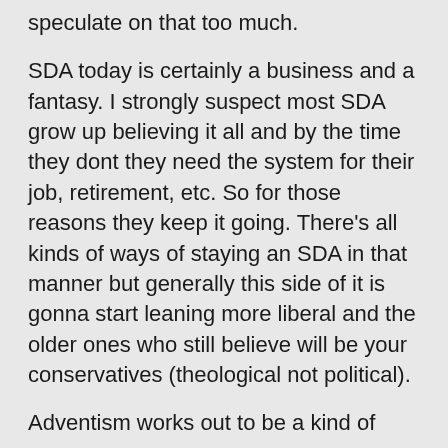speculate on that too much.
SDA today is certainly a business and a fantasy. I strongly suspect most SDA grow up believing it all and by the time they dont they need the system for their job, retirement, etc. So for those reasons they keep it going. There's all kinds of ways of staying an SDA in that manner but generally this side of it is gonna start leaning more liberal and the older ones who still believe will be your conservatives (theological not political).
Adventism works out to be a kind of